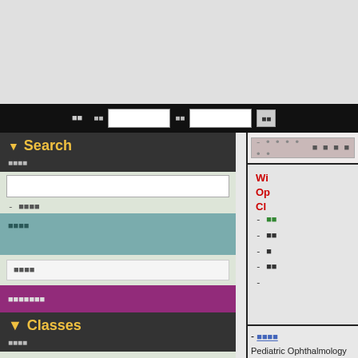Top navigation bar with search fields and buttons
Search
- [Japanese characters]
[Japanese characters] search input
- [Japanese characters]
[Japanese characters] button
Classes
[Japanese characters]
[Japanese]Pay[Japanese]
[Japanese characters]
[Japanese characters]
[Japanese characters]
[Japanese characters]
[Japanese characters]
[Japanese characters]
- [Japanese]: Pediatric Ophthalmology link
Pediatric Ophthalmology (Color Atlas and Synopsis of Clinic... by Leonard Nelson (Author)